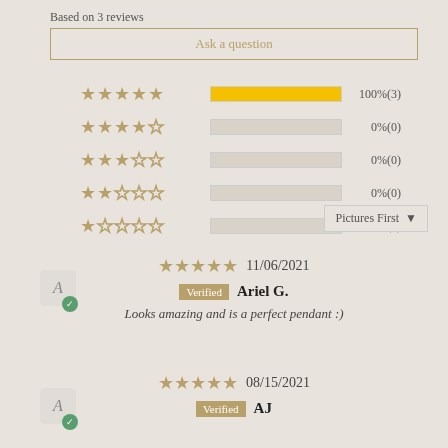Based on 3 reviews
Ask a question
[Figure (bar-chart): Star rating distribution]
Pictures First ▼
★★★★★ 11/06/2021
Verified Ariel G.
Looks amazing and is a perfect pendant :)
★★★★★ 08/15/2021
Verified AJ